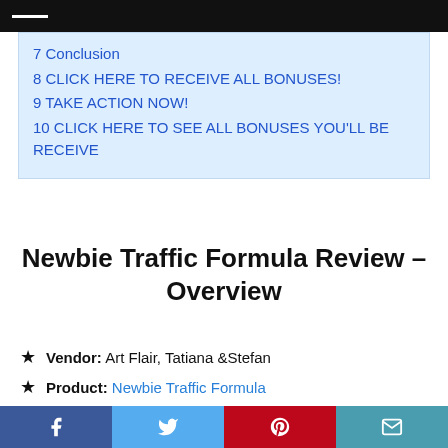7 Conclusion
8 CLICK HERE TO RECEIVE ALL BONUSES!
9 TAKE ACTION NOW!
10 CLICK HERE TO SEE ALL BONUSES YOU'LL BE RECEIVE
Newbie Traffic Formula Review – Overview
Vendor: Art Flair, Tatiana &Stefan
Product: Newbie Traffic Formula
Front-End Price: $6.95
Facebook Twitter Pinterest Email